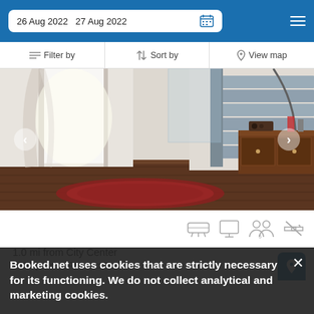26 Aug 2022  27 Aug 2022
Filter by   Sort by   View map
[Figure (photo): Interior room photo showing a staircase with glass railing, wooden floors, sheer curtains, a floor lamp, a patterned rug, and a wooden dresser/sideboard with decorative items]
1.0 mi from City Center
1500 yd from Palazzo Farnese
Booked.net uses cookies that are strictly necessary for its functioning. We do not collect analytical and marketing cookies.